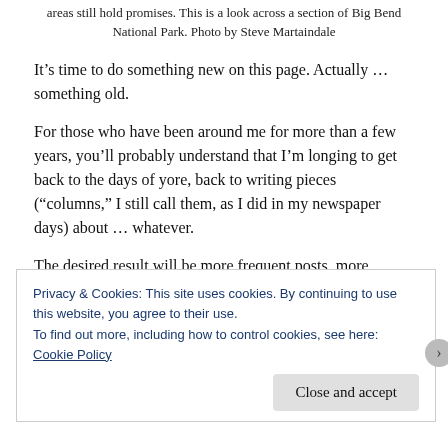areas still hold promises. This is a look across a section of Big Bend National Park. Photo by Steve Martaindale
It’s time to do something new on this page. Actually … something old.
For those who have been around me for more than a few years, you’ll probably understand that I’m longing to get back to the days of yore, back to writing pieces (“columns,” I still call them, as I did in my newspaper days) about … whatever.
The desired result will be more frequent posts, more
Privacy & Cookies: This site uses cookies. By continuing to use this website, you agree to their use.
To find out more, including how to control cookies, see here: Cookie Policy